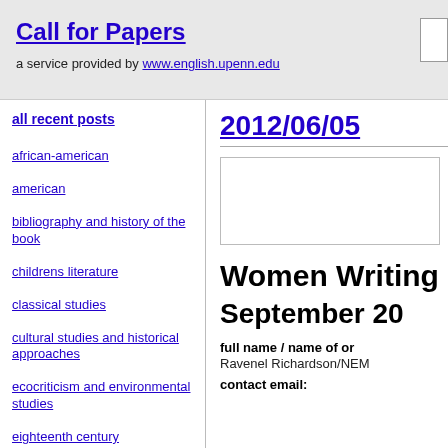Call for Papers
a service provided by www.english.upenn.edu
all recent posts
african-american
american
bibliography and history of the book
childrens literature
classical studies
cultural studies and historical approaches
ecocriticism and environmental studies
eighteenth century
2012/06/05
[Figure (other): Advertisement or placeholder box]
Women Writing
September 20
full name / name of organization: Ravenel Richardson/NEM
contact email: